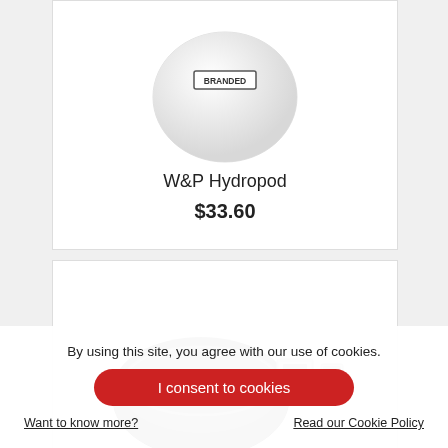[Figure (photo): W&P Hydropod product image — white round pod with BRANDED label]
W&P Hydropod
$33.60
[Figure (photo): Second product image — black round device with USB adapters]
By using this site, you agree with our use of cookies.
I consent to cookies
Want to know more?
Read our Cookie Policy